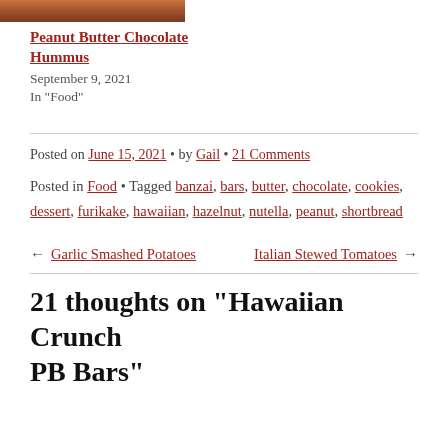[Figure (photo): Top portion of a food photo, partially visible]
Peanut Butter Chocolate Hummus
September 9, 2021
In "Food"
Posted on June 15, 2021 • by Gail • 21 Comments
Posted in Food • Tagged banzai, bars, butter, chocolate, cookies, dessert, furikake, hawaiian, hazelnut, nutella, peanut, shortbread
← Garlic Smashed Potatoes   Italian Stewed Tomatoes →
21 thoughts on "Hawaiian Crunch PB Bars"